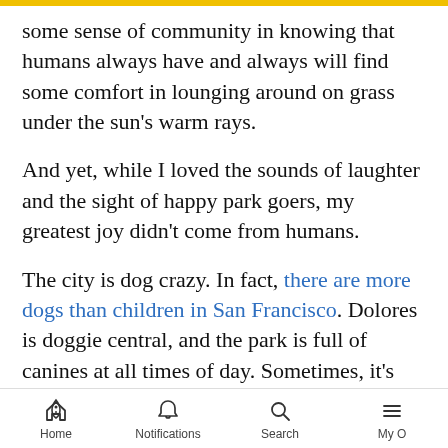some sense of community in knowing that humans always have and always will find some comfort in lounging around on grass under the sun's warm rays.
And yet, while I loved the sounds of laughter and the sight of happy park goers, my greatest joy didn't come from humans.
The city is dog crazy. In fact, there are more dogs than children in San Francisco. Dolores is doggie central, and the park is full of canines at all times of day. Sometimes, it's owners with their pets. And at other times, it's dog walkers with giant packs of dogs running around and getting the exercise they can't in a tiny apartment. In
Home  Notifications  Search  My O